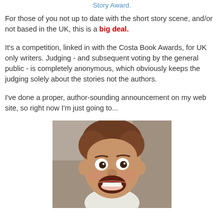Story Award.
For those of you not up to date with the short story scene, and/or not based in the UK, this is a big deal.
It's a competition, linked in with the Costa Book Awards, for UK only writers. Judging - and subsequent voting by the general public - is completely anonymous, which obviously keeps the judging solely about the stories not the authors.
I've done a proper, author-sounding announcement on my web site, so right now I'm just going to...
[Figure (photo): A man with brown curly hair making an excited or surprised open-mouthed expression, looking directly at the camera. The image appears to be a still from a film or TV show.]